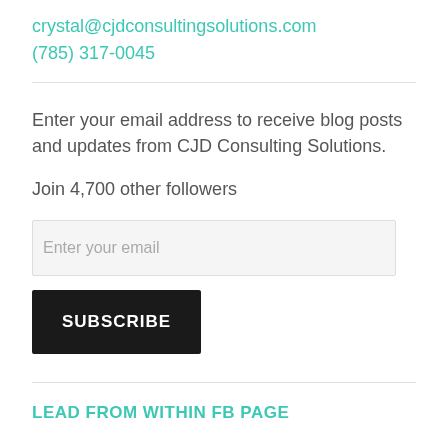crystal@cjdconsultingsolutions.com
(785) 317-0045
Enter your email address to receive blog posts and updates from CJD Consulting Solutions.
Join 4,700 other followers
Enter your email
SUBSCRIBE
LEAD FROM WITHIN FB PAGE